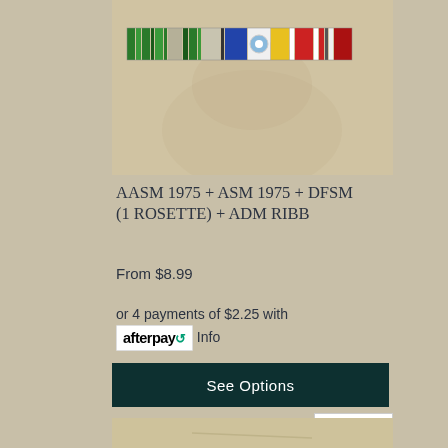[Figure (photo): Military medal ribbon bar showing multiple colored ribbons including green, teal, blue, yellow, white, and red stripes on a sandy/beige background]
AASM 1975 + ASM 1975 + DFSM (1 ROSETTE) + ADM RIBB
From $8.99
or 4 payments of $2.25 with afterpay Info
See Options
RRP $8.99
[Figure (photo): Partial view of another military medal product image]